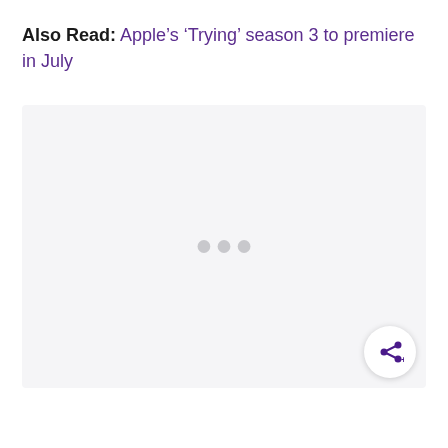Also Read: Apple's 'Trying' season 3 to premiere in July
[Figure (other): Image loading placeholder with three grey dots indicating content loading, with a share button overlay in the bottom right corner]